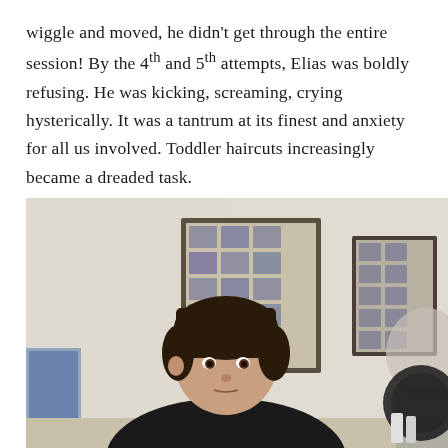wiggle and moved, he didn't get through the entire session! By the 4th and 5th attempts, Elias was boldly refusing. He was kicking, screaming, crying hysterically. It was a tantrum at its finest and anxiety for all us involved. Toddler haircuts increasingly became a dreaded task.
[Figure (photo): A young boy with dark hair sitting in a barber chair at a barbershop, wearing a black barber cape. In the background are blurred hairstyle charts/posters on the wall and barbershop equipment.]